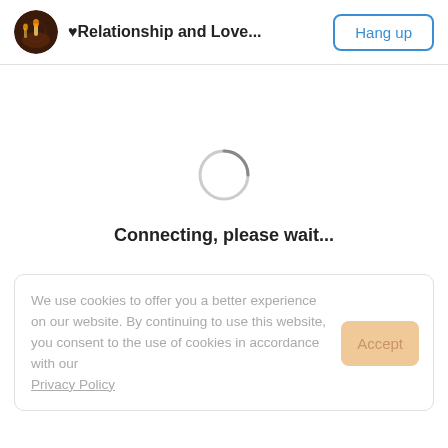♥Relationship and Love...   Hang up
[Figure (illustration): Circular loading spinner (gray ring, partially complete)]
Connecting, please wait...
We use cookies to offer you a better experience on our website. By continuing to use this website, you consent to the use of cookies in accordance with our Privacy Policy